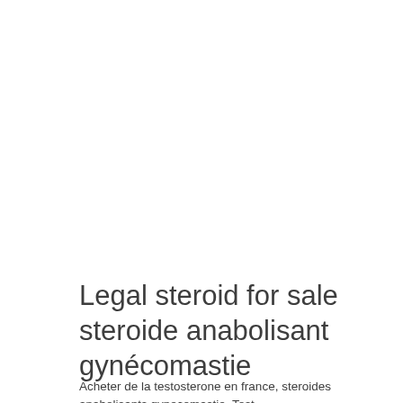Legal steroid for sale steroide anabolisant gynécomastie
Acheter de la testosterone en france, steroides anabolisants gynecomastie. Test